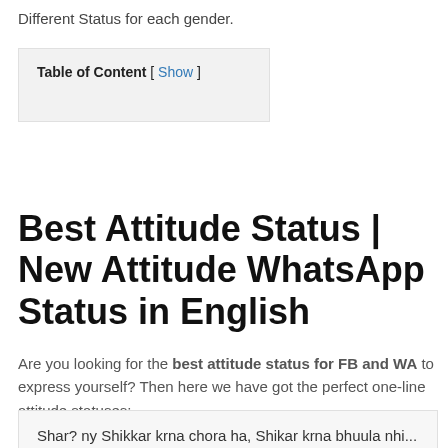Different Status for each gender.
| Table of Content |
| --- |
| [ Show ] |
Best Attitude Status | New Attitude WhatsApp Status in English
Are you looking for the best attitude status for FB and WA to express yourself? Then here we have got the perfect one-line attitude statuses:
Shar? ny Shikkar krna chora ha, Shikar krna bhuula nhi...